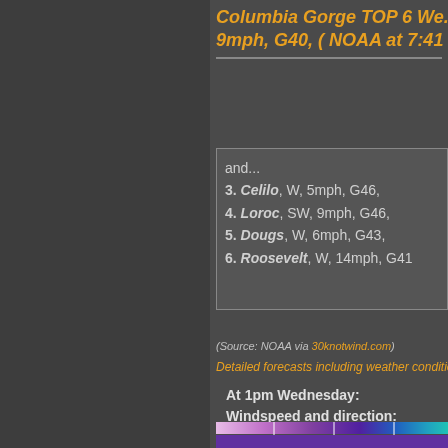Columbia Gorge TOP 6 We... 9mph, G40, ( NOAA at 7:41
and...
3. Celilo, W, 5mph, G46,
4. Loroc, SW, 9mph, G46,
5. Dougs, W, 6mph, G43,
6. Roosevelt, W, 14mph, G41
(Source: NOAA via 30knotwind.com)
Detailed forecasts including weather conditions
At 1pm Wednesday:
Windspeed and direction:
[Figure (map): Wind speed and direction map showing the Pacific Northwest region including Portland and Salem, with purple/pink color gradient indicating wind speeds and directional arrows. Color bar shows scale from ~0 to 20+ knots.]